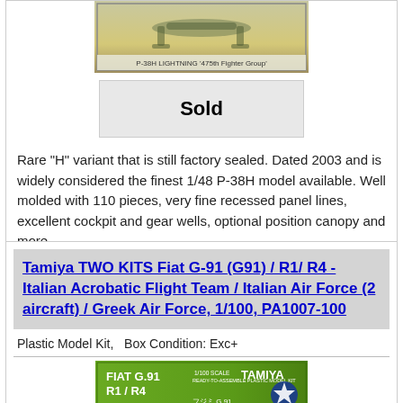[Figure (photo): Product photo of P-38H Lightning 475th Fighter Group model kit box top]
Sold
Rare "H" variant that is still factory sealed. Dated 2003 and is widely considered the finest 1/48 P-38H model available. Well molded with 110 pieces, very fine recessed panel lines, excellent cockpit and gear wells, optional position canopy and more.
Tamiya TWO KITS Fiat G-91 (G91) / R1/ R4 - Italian Acrobatic Flight Team / Italian Air Force (2 aircraft) / Greek Air Force, 1/100, PA1007-100
Plastic Model Kit,   Box Condition: Exc+
[Figure (photo): Product photo of Tamiya Fiat G-91 R1/R4 1/100 scale model kit box]